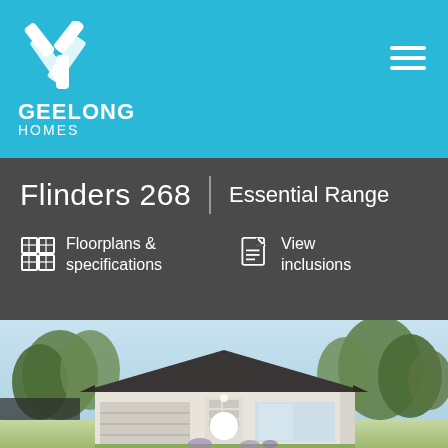[Figure (logo): Geelong Homes logo — white house icon with angled roofline and chimney gap on cyan/blue background, with GEELONG HOMES text below in white]
Flinders 268  |  Essential Range
Floorplans & specifications
View inclusions
[Figure (photo): Rendered exterior photo of a single-storey home (Flinders 268) with dark hip roof, white render walls, double garage, front entry with decorative panels, and surrounding green trees and garden]